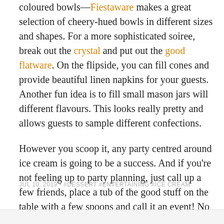coloured bowls—Fiestaware makes a great selection of cheery-hued bowls in different sizes and shapes. For a more sophisticated soiree, break out the crystal and put out the good flatware. On the flipside, you can fill cones and provide beautiful linen napkins for your guests. Another fun idea is to fill small mason jars will different flavours. This looks really pretty and allows guests to sample different confections.
However you scoop it, any party centred around ice cream is going to be a success. And if you're not feeling up to party planning, just call up a few friends, place a tub of the good stuff on the table with a few spoons and call it an event! No one will complain, we promise.
JUL 10, 2019 • #DESSERT #ENTERTAINING #ICE CREAM